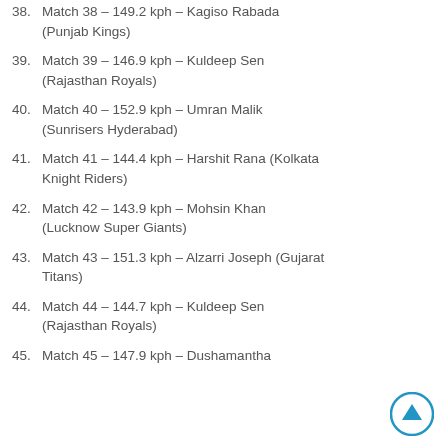Match 38 – 149.2 kph – Kagiso Rabada (Punjab Kings)
Match 39 – 146.9 kph – Kuldeep Sen (Rajasthan Royals)
Match 40 – 152.9 kph – Umran Malik (Sunrisers Hyderabad)
Match 41 – 144.4 kph – Harshit Rana (Kolkata Knight Riders)
Match 42 – 143.9 kph – Mohsin Khan (Lucknow Super Giants)
Match 43 – 151.3 kph – Alzarri Joseph (Gujarat Titans)
Match 44 – 144.7 kph – Kuldeep Sen (Rajasthan Royals)
Match 45 – 147.9 kph – Dushamantha